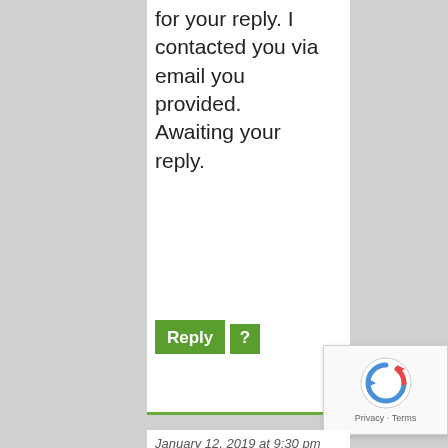for your reply. I contacted you via email you provided. Awaiting your reply.
Reply ?
January 12, 2019 at 9:30 pm
Con Shanahan in
Guestbook
Hi